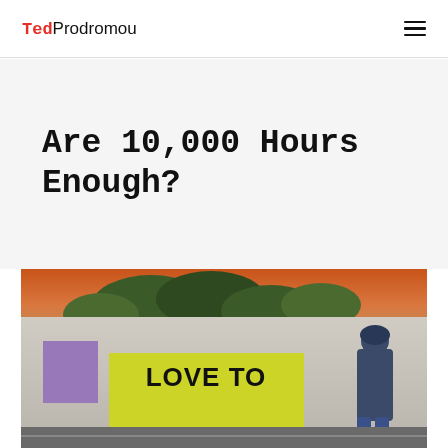TedProdromou
Are 10,000 Hours Enough?
[Figure (photo): Outdoor scene showing a large wall with a purple block and a yellow sign reading 'LOVE TO', with a person in a hoodie walking past, trees and orange sky in the background.]